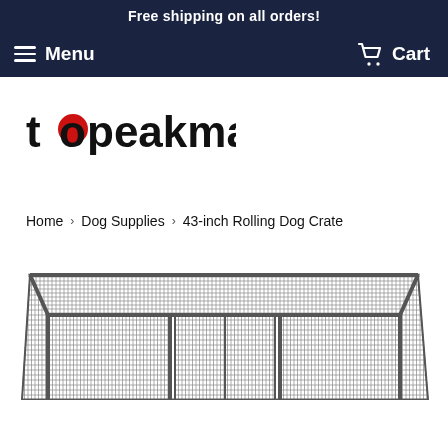Free shipping on all orders!
Menu   Cart
[Figure (logo): topeakmart logo with red circle on the 'o' in 'to']
Home › Dog Supplies › 43-inch Rolling Dog Crate
[Figure (photo): Metal wire 43-inch rolling dog crate, dark gray/black, viewed from above-front angle showing wire mesh panels and frame structure]